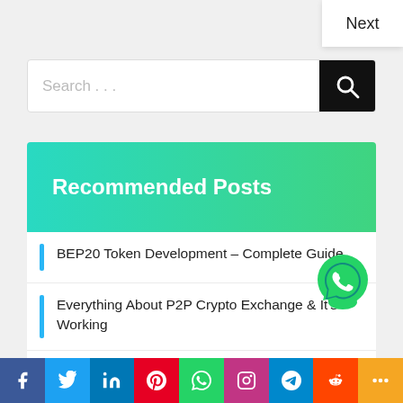Next
Search . . .
Recommended Posts
BEP20 Token Development – Complete Guide
Everything About P2P Crypto Exchange & It's Working
How To Develop Token on The Solana Blockchain?
Everything About Ethereum To Binance Bridge
[Figure (logo): WhatsApp green phone icon]
[Figure (infographic): Social share bar with Facebook, Twitter, LinkedIn, Pinterest, WhatsApp, Instagram, Telegram, Reddit, More buttons]